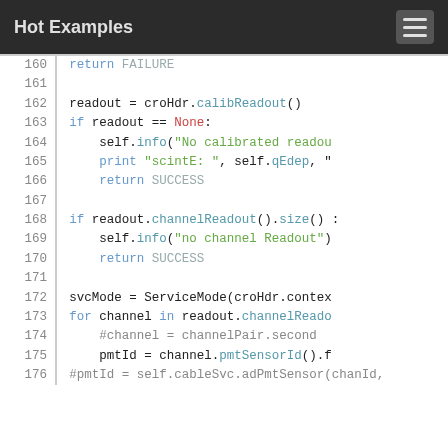Hot Examples
[Figure (screenshot): Python source code viewer showing lines 160-176 of a code file with syntax highlighting on a white background. Keywords in blue, strings in green, None in red, comments in gray, line numbers in gray with a vertical separator.]